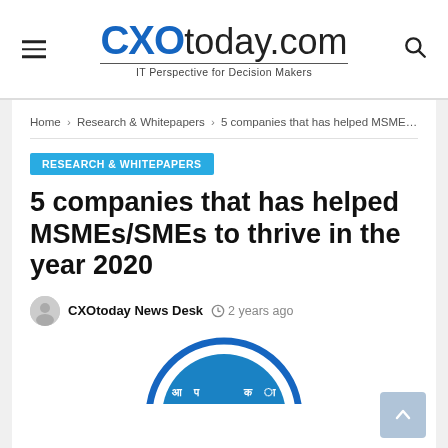CXOtoday.com — IT Perspective for Decision Makers
Home > Research & Whitepapers > 5 companies that has helped MSMEs...
RESEARCH & WHITEPAPERS
5 companies that has helped MSMEs/SMEs to thrive in the year 2020
CXOtoday News Desk  2 years ago
[Figure (logo): Partial circular logo/emblem with blue border visible at bottom of page]